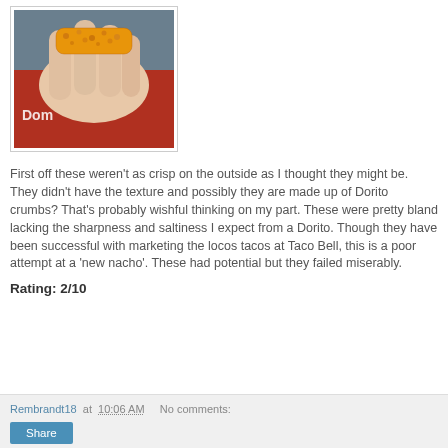[Figure (photo): A hand holding a breaded, golden-orange fried food item (appears to be a Dorito-coated mozzarella stick or similar snack), with a red Domino's bag visible in background.]
First off these weren't as crisp on the outside as I thought they might be. They didn't have the texture and possibly they are made up of Dorito crumbs? That's probably wishful thinking on my part. These were pretty bland lacking the sharpness and saltiness I expect from a Dorito. Though they have been successful with marketing the locos tacos at Taco Bell, this is a poor attempt at a 'new nacho'. These had potential but they failed miserably.
Rating: 2/10
Rembrandt18 at 10:06 AM   No comments:   Share